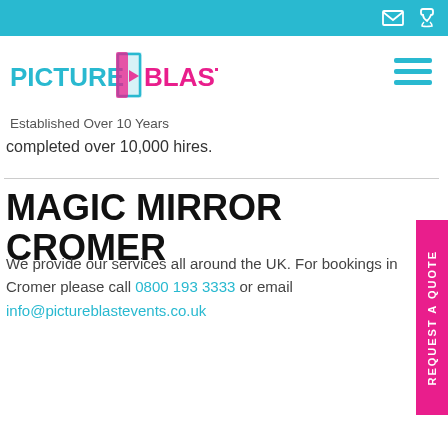[Top navigation bar with email and phone icons]
[Figure (logo): Picture Blast logo — cyan 'PICTURE' text left, pink 'BLAST' text right, with a stylized door/mirror icon in the center]
Established Over 10 Years
completed over 10,000 hires.
MAGIC MIRROR CROMER
We provide our services all around the UK. For bookings in Cromer please call 0800 193 3333 or email info@pictureblastevents.co.uk